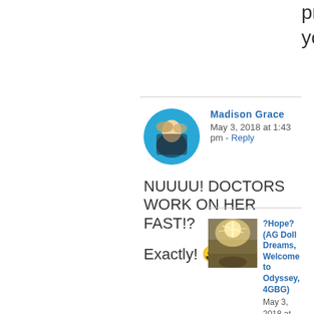problems to make you busy.
Madison Grace
May 3, 2018 at 1:43 pm - Reply
[Figure (photo): Circular avatar photo of Madison Grace, a woman with long light hair against a blue background]
NUUUU! DOCTORS WORK ON HER FAST!?

Exactly! 😛
[Figure (photo): Square avatar photo showing a bright light/sun over a field]
?Hope? (AG Doll Dreams, Welcome to Odyssey, 4GBG)  May 3, 2018 at 1:44 pm - Reply